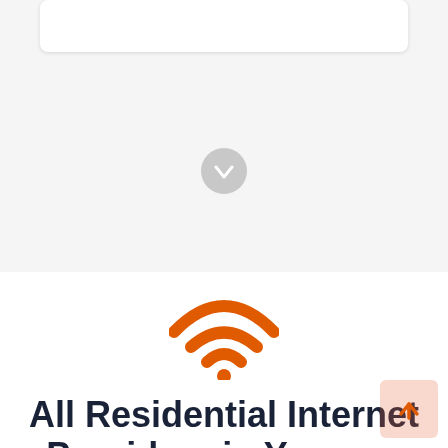[Figure (other): White rounded card/panel at top of page]
[Figure (other): Gray circular scroll-down button with downward arrow]
[Figure (other): Orange WiFi signal icon]
All Residential Internet Providers in Yeoman
[Figure (other): Back to top button, salmon/orange tinted square with upward arrow]